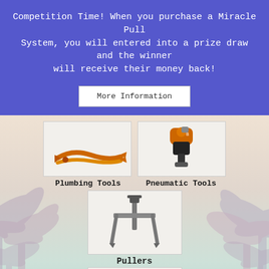Competition Time! When you purchase a Miracle Pull System, you will entered into a prize draw and the winner will receive their money back!
More Information
[Figure (photo): Orange plumbing pliers tool on white background]
[Figure (photo): Orange and black pneumatic impact wrench tool]
Plumbing Tools
Pneumatic Tools
[Figure (photo): Metal two-jaw gear puller tool on white background]
Pullers
[Figure (photo): Two screwdrivers with orange handles on white background]
Screwdrivers, Male-end Wrenches and Bits